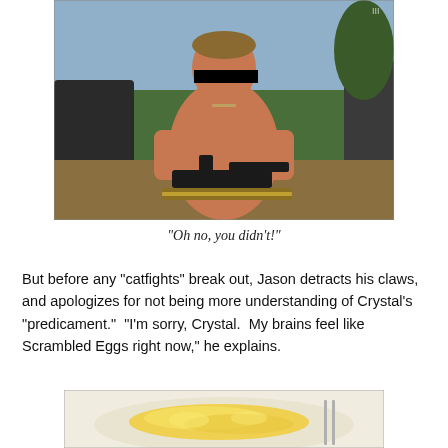[Figure (photo): A shirtless muscular man holding a machine gun with an ammunition belt, eyes blacked out with a censorship bar, standing outdoors with trees and a vehicle in the background. Small text in upper right corner reads 'III'.]
“Oh no, you didn’t!”
But before any “catfights” break out, Jason detracts his claws, and apologizes for not being more understanding of Crystal’s “predicament.”  “I’m sorry, Crystal.  My brains feel like Scrambled Eggs right now,” he explains.
[Figure (photo): A close-up photo of scrambled eggs on a plate.]